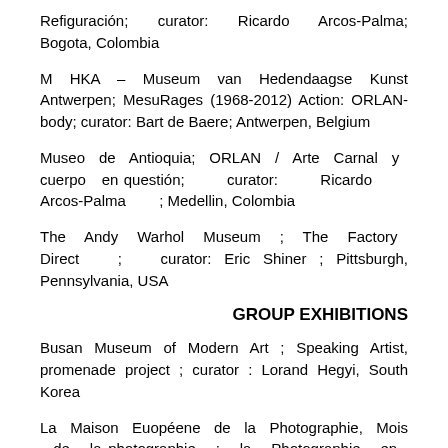Refiguración; curator: Ricardo Arcos-Palma; Bogota, Colombia
M HKA – Museum van Hedendaagse Kunst Antwerpen; MesuRages (1968-2012) Action: ORLAN-body; curator: Bart de Baere; Antwerpen, Belgium
Museo de Antioquia; ORLAN / Arte Carnal y cuerpo en questión; curator: Ricardo Arcos-Palma ; Medellin, Colombia
The Andy Warhol Museum ; The Factory Direct ; curator: Eric Shiner ; Pittsburgh, Pennsylvania, USA
GROUP EXHIBITIONS
Busan Museum of Modern Art ; Speaking Artist, promenade project ; curator : Lorand Hegyi, South Korea
La Maison Euopéene de la Photographie, Mois de la photographie ; la Photographie en France de 1950 2000 ;